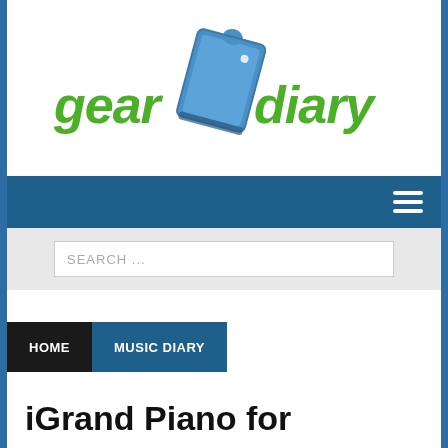[Figure (logo): Gear Diary logo with green stylized text 'gear' and 'diary' and a blue puzzle-piece notebook in the center]
[Figure (screenshot): Blue navigation bar with hamburger menu icon on the right]
[Figure (screenshot): Grey search bar with white input field containing placeholder text SEARCH ...]
HOME
MUSIC DIARY
iGrand Piano for